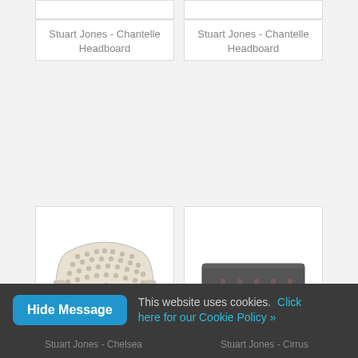[Figure (photo): Partial top of a product image card for Stuart Jones Chantelle Headboard (left)]
Stuart Jones - Chantelle Headboard
[Figure (photo): Partial top of a product image card for Stuart Jones Chantelle Headboard (right)]
Stuart Jones - Chantelle Headboard
[Figure (photo): Product image of a cream tufted headboard (Stuart Jones Chelsea)]
[Figure (photo): Product image of a dark grey buttoned headboard (Stuart Jones Cirrus)]
This website uses cookies. Click here for our Cookie Policy »
Stuart Jones - Chelsea
Stuart Jones - Cirrus